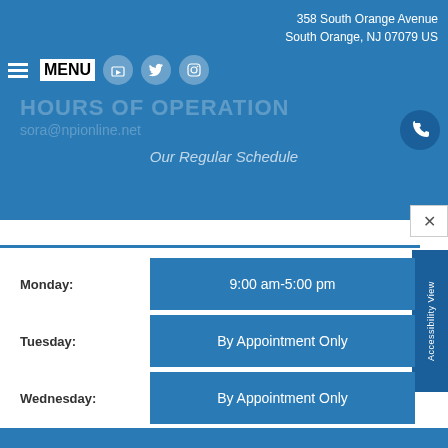358 South Orange Avenue
South Orange, NJ 07079 US
Our Regular Schedule
| Day | Hours |
| --- | --- |
| Monday: | 9:00 am-5:00 pm |
| Tuesday: | By Appointment Only |
| Wednesday: | By Appointment Only |
| Thursday: | 9:00 am-5:00 pm |
| Friday: | 9:00 am-5:00 pm |
| Saturday: | 9:00 am-2:00 pm |
| Sunday: | Closed |